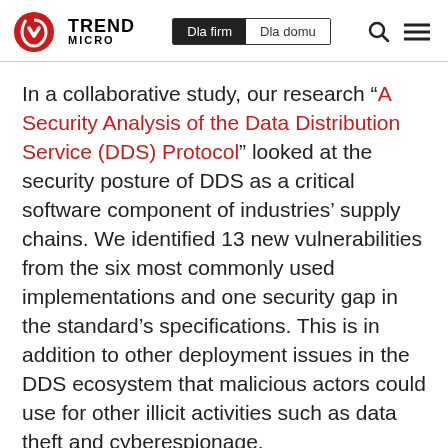Trend Micro | Dla firm | Dla domu
In a collaborative study, our research “A Security Analysis of the Data Distribution Service (DDS) Protocol” looked at the security posture of DDS as a critical software component of industries’ supply chains. We identified 13 new vulnerabilities from the six most commonly used implementations and one security gap in the standard’s specifications. This is in addition to other deployment issues in the DDS ecosystem that malicious actors could use for other illicit activities such as data theft and cyberespionage.